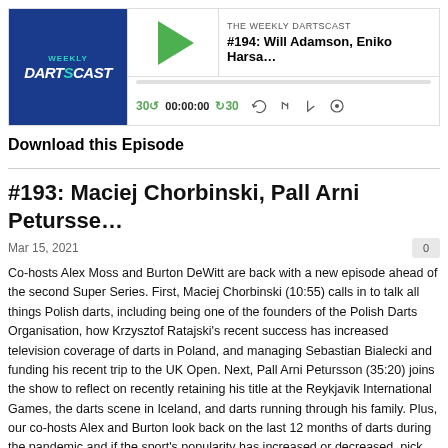[Figure (screenshot): Weekly Dartscast podcast player widget showing episode #194 with play button, time controls (30 back, 00:00:00, 30 forward), and media icons. Logo shows 'WEEKLY DARTSCAST' on dark blue background.]
Download this Episode
#193: Maciej Chorbinski, Pall Arni Petursse...
Mar 15, 2021
Co-hosts Alex Moss and Burton DeWitt are back with a new episode ahead of the second Super Series. First, Maciej Chorbinski (10:55) calls in to talk all things Polish darts, including being one of the founders of the Polish Darts Organisation, how Krzysztof Ratajski's recent success has increased television coverage of darts in Poland, and managing Sebastian Bialecki and funding his recent trip to the UK Open. Next, Pall Arni Petursson (35:20) joins the show to reflect on recently retaining his title at the Reykjavik International Games, the darts scene in Iceland, and darts running through his family. Plus, our co-hosts Alex and Burton look back on the last 12 months of darts during the pandemic and if the sport's popularity has increased or decreased, pick out their favourite behind closed doors matches on TV, and look ahead to the upcoming Super Series. Enjoy!